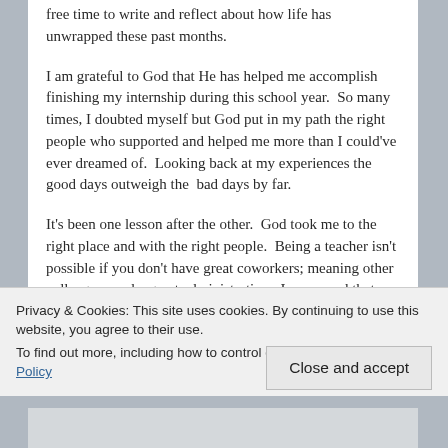free time to write and reflect about how life has unwrapped these past months.
I am grateful to God that He has helped me accomplish finishing my internship during this school year.  So many times, I doubted myself but God put in my path the right people who supported and helped me more than I could've ever dreamed of.  Looking back at my experiences the good days outweigh the  bad days by far.
It's been one lesson after the other.  God took me to the right place and with the right people.  Being a teacher isn't possible if you don't have great coworkers; meaning other colleagues and a great administration.  I am so sad that my principal and two assistance won't be there next year but I'm
Privacy & Cookies: This site uses cookies. By continuing to use this website, you agree to their use.
To find out more, including how to control cookies, see here: Cookie Policy
Close and accept